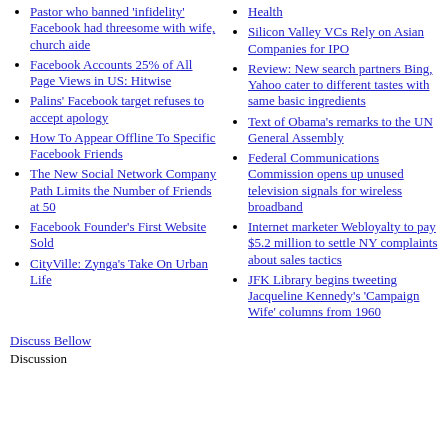Pastor who banned 'infidelity' Facebook had threesome with wife, church aide
Facebook Accounts 25% of All Page Views in US: Hitwise
Palins' Facebook target refuses to accept apology
How To Appear Offline To Specific Facebook Friends
The New Social Network Company Path Limits the Number of Friends at 50
Facebook Founder's First Website Sold
CityVille: Zynga's Take On Urban Life
Health
Silicon Valley VCs Rely on Asian Companies for IPO
Review: New search partners Bing, Yahoo cater to different tastes with same basic ingredients
Text of Obama's remarks to the UN General Assembly
Federal Communications Commission opens up unused television signals for wireless broadband
Internet marketer Webloyalty to pay $5.2 million to settle NY complaints about sales tactics
JFK Library begins tweeting Jacqueline Kennedy's 'Campaign Wife' columns from 1960
Discuss Bellow
Discussion